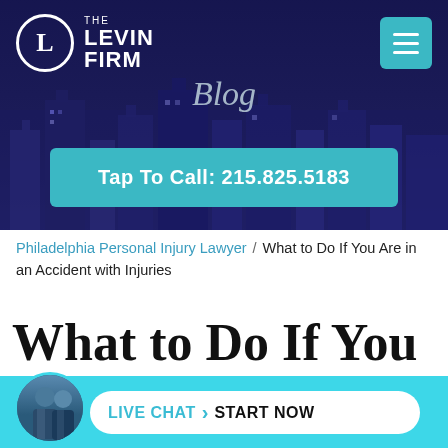[Figure (screenshot): The Levin Firm logo with circular L icon and text THE / LEVIN FIRM in white on dark background]
Blog
Tap To Call: 215.825.5183
Philadelphia Personal Injury Lawyer / What to Do If You Are in an Accident with Injuries
What to Do If You Are in an Accident with
LIVE CHAT › START NOW